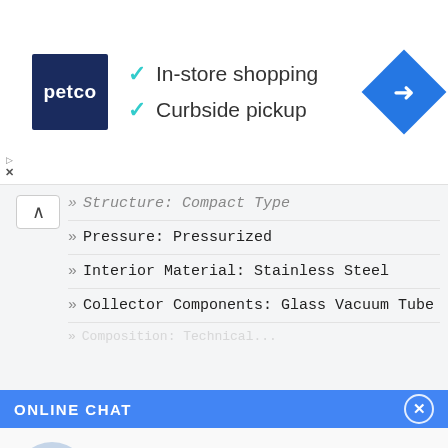[Figure (screenshot): Petco advertisement banner with logo, checkmarks for In-store shopping and Curbside pickup, and a blue navigation direction diamond icon]
Structure: Compact Type
Pressure: Pressurized
Interior Material: Stainless Steel
Collector Components: Glass Vacuum Tube
ONLINE CHAT
[Figure (screenshot): Chat avatar of Cilina with speech bubble: Hi,welcome to visit our website.]
Cilina
[Figure (screenshot): Chat avatar of Cilina with speech bubble: How can I help you today?]
Cilina